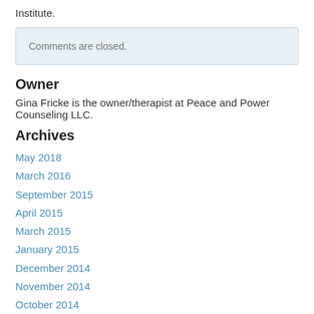Institute.
Comments are closed.
Owner
Gina Fricke is the owner/therapist at Peace and Power Counseling LLC.
Archives
May 2018
March 2016
September 2015
April 2015
March 2015
January 2015
December 2014
November 2014
October 2014
March 2014
February 2014
December 2013